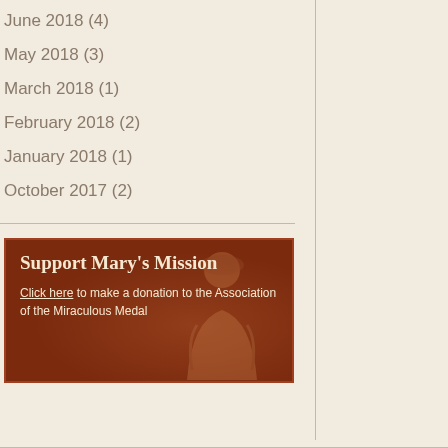June 2018 (4)
May 2018 (3)
March 2018 (1)
February 2018 (2)
January 2018 (1)
October 2017 (2)
[Figure (other): Support Mary's Mission donation box with background image of Mary figure. Contains title 'Support Mary's Mission' and text 'Click here to make a donation to the Association of the Miraculous Medal']